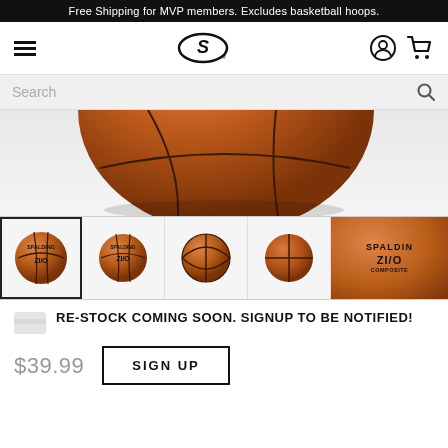Free Shipping for MVP members. Excludes basketball hoops.
[Figure (screenshot): Spalding logo navigation bar with hamburger menu, Spalding S logo, user icon, and cart icon]
[Figure (screenshot): Search bar with search icon]
[Figure (photo): Close-up of a Spalding ZI/O basketball — top portion visible, brown leather texture with black seam lines]
[Figure (photo): Row of 5 basketball thumbnail images: first selected (active border), showing Spalding ZI/O ball front, second smaller ball front, third ball side view, fourth plain ball, fifth showing SPALDING ZI/O label text]
RE-STOCK COMING SOON. SIGNUP TO BE NOTIFIED!
$39.99
SIGN UP